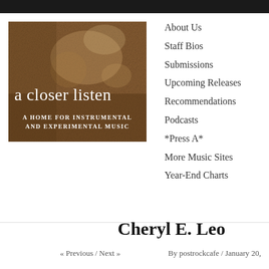[Figure (logo): A Closer Listen logo: brown/sepia textured background with text 'a closer listen' and subtitle 'A HOME FOR INSTRUMENTAL AND EXPERIMENTAL MUSIC']
About Us
Staff Bios
Submissions
Upcoming Releases
Recommendations
Podcasts
*Press A*
More Music Sites
Year-End Charts
Cheryl E. Leo
« Previous / Next »
By postrockcafe / January 20,